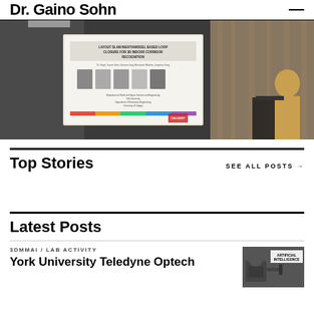Dr. Gaino Sohn
[Figure (photo): Person presenting at a conference with a projected slide reading 'LAYOUT SLAM INERTIAMODEL BASED LOOP CLOSURE FOR 3D INDOOR CORRIDOR RECOGNITION'. Multiple portrait photos on the slide and university logos visible. Presenter in yellow shirt at right.]
Top Stories
SEE ALL POSTS →
Latest Posts
3DMMAI / LAB ACTIVITY
York University Teledyne Optech
[Figure (photo): Photo showing text 'ARTIFICIAL INTELLIGENCE' on a sign or banner.]